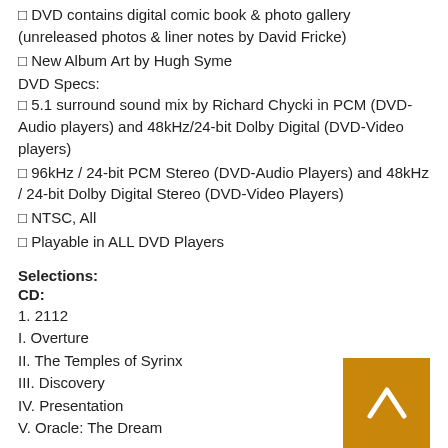□ DVD contains digital comic book & photo gallery (unreleased photos & liner notes by David Fricke)
□ New Album Art by Hugh Syme
DVD Specs:
□ 5.1 surround sound mix by Richard Chycki in PCM (DVD-Audio players) and 48kHz/24-bit Dolby Digital (DVD-Video players)
□ 96kHz / 24-bit PCM Stereo (DVD-Audio Players) and 48kHz / 24-bit Dolby Digital Stereo (DVD-Video Players)
□ NTSC, All
□ Playable in ALL DVD Players
Selections:
CD:
1. 2112
I. Overture
II. The Temples of Syrinx
III. Discovery
IV. Presentation
V. Oracle: The Dream